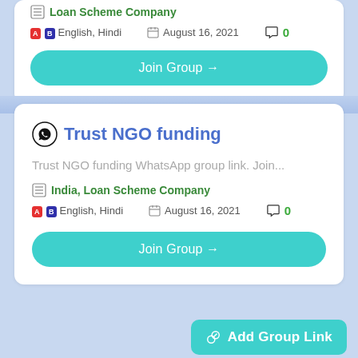Loan Scheme Company
English, Hindi   August 16, 2021   0
Join Group →
Trust NGO funding
Trust NGO funding WhatsApp group link. Join...
India, Loan Scheme Company
English, Hindi   August 16, 2021   0
Join Group →
Add Group Link